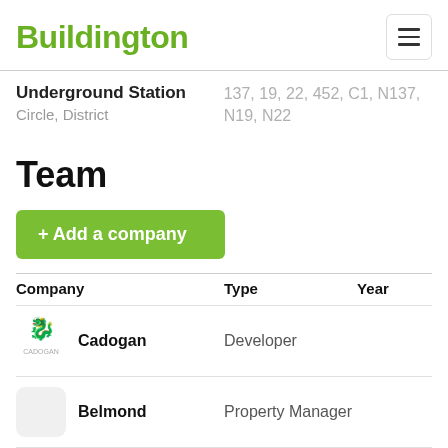Buildington
Underground Station
Circle, District
137, 19, 22, 452, C1, N137, N19, N22
Team
+ Add a company
| Company | Type | Year |
| --- | --- | --- |
| Cadogan | Developer |  |
| Belmond | Property Manager |  |